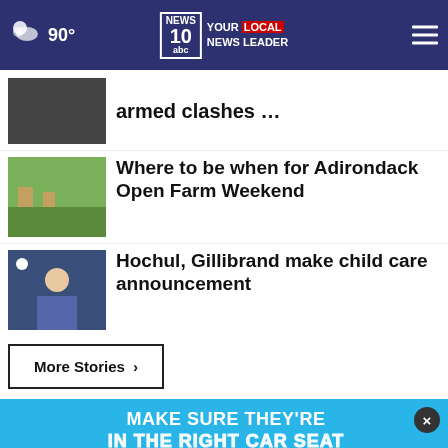NEWS 10 abc — YOUR LOCAL NEWS LEADER | 90°
armed clashes …
Where to be when for Adirondack Open Farm Weekend
Hochul, Gillibrand make child care announcement
More Stories ▸
[Figure (screenshot): Blue advertisement banner: MAKE SURE THEY'RE IN THE RIGHT CAR SEAT — AARP Ad Council promotion with green mascot character and text: It's not too late to take charge of your retirement. Get your top 3 tips →]